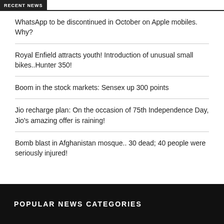RECENT NEWS
WhatsApp to be discontinued in October on Apple mobiles. Why?
Royal Enfield attracts youth! Introduction of unusual small bikes..Hunter 350!
Boom in the stock markets: Sensex up 300 points
Jio recharge plan: On the occasion of 75th Independence Day, Jio's amazing offer is raining!
Bomb blast in Afghanistan mosque.. 30 dead; 40 people were seriously injured!
POPULAR NEWS CATEGORIES